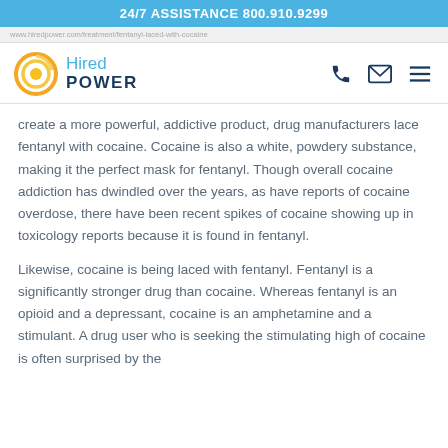24/7 ASSISTANCE 800.910.9299
www.hiredpower.com/treatment/fentanyl-laced-with-cocaine
[Figure (logo): Hired Power logo with circular orange/yellow swirl icon and blue text]
create a more powerful, addictive product, drug manufacturers lace fentanyl with cocaine. Cocaine is also a white, powdery substance, making it the perfect mask for fentanyl. Though overall cocaine addiction has dwindled over the years, as have reports of cocaine overdose, there have been recent spikes of cocaine showing up in toxicology reports because it is found in fentanyl.
Likewise, cocaine is being laced with fentanyl. Fentanyl is a significantly stronger drug than cocaine. Whereas fentanyl is an opioid and a depressant, cocaine is an amphetamine and a stimulant. A drug user who is seeking the stimulating high of cocaine is often surprised by the